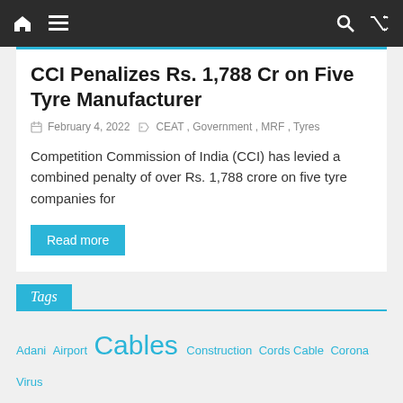Navigation bar with home, menu, search, and shuffle icons
CCI Penalizes Rs. 1,788 Cr on Five Tyre Manufacturer
February 4, 2022   CEAT, Government, MRF, Tyres
Competition Commission of India (CCI) has levied a combined penalty of over Rs. 1,788 crore on five tyre companies for
Read more
Tags
Adani  Airport  Cables  Construction  Cords Cable  Corona Virus  Defence  Electric Vehicles  EPC  EV Charging  Expansion  Financials  Government